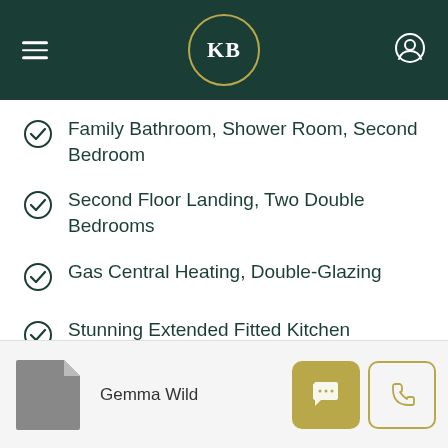KB
Family Bathroom, Shower Room, Second Bedroom
Second Floor Landing, Two Double Bedrooms
Gas Central Heating, Double-Glazing
Stunning Extended Fitted Kitchen Breakfast Room
Gemma Wild